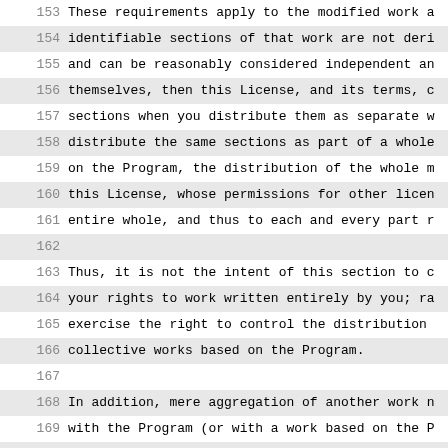153  These requirements apply to the modified work a
154  identifiable sections of that work are not deri
155  and can be reasonably considered independent an
156  themselves, then this License, and its terms, c
157  sections when you distribute them as separate w
158  distribute the same sections as part of a whole
159  on the Program, the distribution of the whole m
160  this License, whose permissions for other licen
161  entire whole, and thus to each and every part r
162
163  Thus, it is not the intent of this section to c
164  your rights to work written entirely by you; ra
165  exercise the right to control the distribution
166  collective works based on the Program.
167
168  In addition, mere aggregation of another work n
169  with the Program (or with a work based on the P
170  a storage or distribution medium does not bring
171  the scope of this License.
172
173     3. You may copy and distribute the Program (c
174  under Section 2) in object code or executable f
175  Sections 1 and 2 above, provided that you also